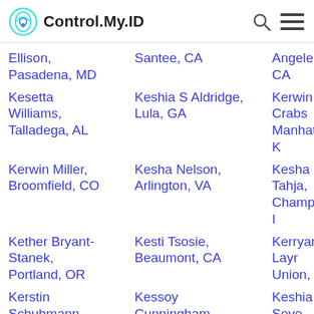Control.My.ID
Ellison, Pasadena, MD | Santee, CA | Angeles, CA
Kesetta Williams, Talladega, AL | Keshia S Aldridge, Lula, GA | Kerwin Crabs Manhattan, K
Kerwin Miller, Broomfield, CO | Kesha Nelson, Arlington, VA | Kesha Tahja, Champaign, I
Kether Bryant-Stanek, Portland, OR | Kesti Tsosie, Beaumont, CA | Kerryann Layr Union, NJ
Kerstin Schuhmann, Erin, NY | Kessoy Cunningham, North Port, FL | Keshia J Seve Springport, M
Keshaw James, | Keshia L Rozell | Kesha Billups